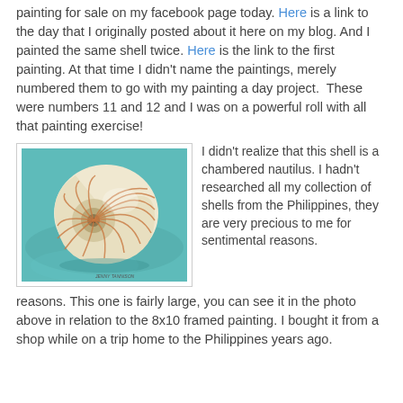painting for sale on my facebook page today. Here is a link to the day that I originally posted about it here on my blog. And I painted the same shell twice. Here is the link to the first painting. At that time I didn't name the paintings, merely numbered them to go with my painting a day project. These were numbers 11 and 12 and I was on a powerful roll with all that painting exercise!
[Figure (photo): Oil painting of a chambered nautilus shell on a teal/blue-green background. The shell shows the characteristic spiral pattern with reddish-brown striations. Artist signature at bottom.]
I didn't realize that this shell is a chambered nautilus. I hadn't researched all my collection of shells from the Philippines, they are very precious to me for sentimental reasons. This one is fairly large, you can see it in the photo above in relation to the 8x10 framed painting. I bought it from a shop while on a trip home to the Philippines years ago.